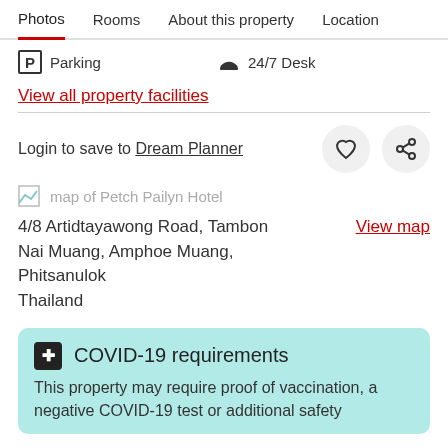Photos  Rooms  About this property  Location
Parking
24/7 Desk
View all property facilities
Login to save to Dream Planner
[Figure (map): map of Petch Pailyn Hotel]
4/8 Artidtayawong Road, Tambon Nai Muang, Amphoe Muang, Phitsanulok Thailand
View map
COVID-19 requirements
This property may require proof of vaccination, a negative COVID-19 test or additional safety